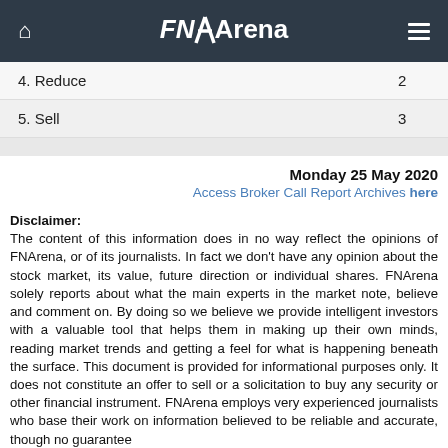FNArena
| Rating | Count |
| --- | --- |
| 4. Reduce | 2 |
| 5. Sell | 3 |
Monday 25 May 2020
Access Broker Call Report Archives here
Disclaimer: The content of this information does in no way reflect the opinions of FNArena, or of its journalists. In fact we don't have any opinion about the stock market, its value, future direction or individual shares. FNArena solely reports about what the main experts in the market note, believe and comment on. By doing so we believe we provide intelligent investors with a valuable tool that helps them in making up their own minds, reading market trends and getting a feel for what is happening beneath the surface. This document is provided for informational purposes only. It does not constitute an offer to sell or a solicitation to buy any security or other financial instrument. FNArena employs very experienced journalists who base their work on information believed to be reliable and accurate, though no guarantee